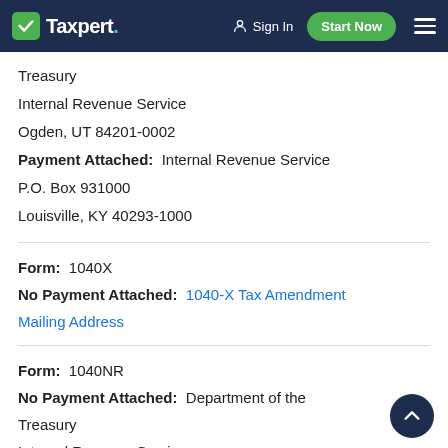Taxpert – Sign In | Start Now
Treasury
Internal Revenue Service
Ogden, UT 84201-0002
Payment Attached: Internal Revenue Service
P.O. Box 931000
Louisville, KY 40293-1000
Form: 1040X
No Payment Attached: 1040-X Tax Amendment Mailing Address
Form: 1040NR
No Payment Attached: Department of the Treasury
Internal Revenue Service
Austin, TX 73301-0215